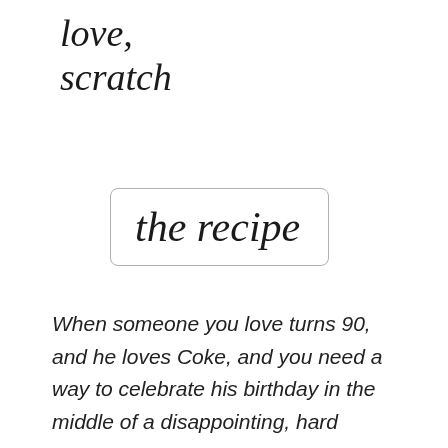love, scratch
the recipe
When someone you love turns 90, and he loves Coke, and you need a way to celebrate his birthday in the middle of a disappointing, hard season,